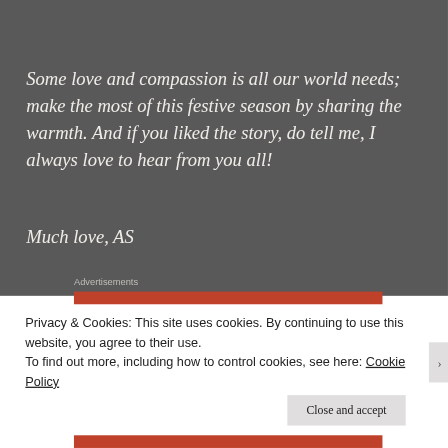Some love and compassion is all our world needs; make the most of this festive season by sharing the warmth. And if you liked the story, do tell me, I always love to hear from you all!
Much love, AS
Advertisements
Privacy & Cookies: This site uses cookies. By continuing to use this website, you agree to their use.
To find out more, including how to control cookies, see here: Cookie Policy